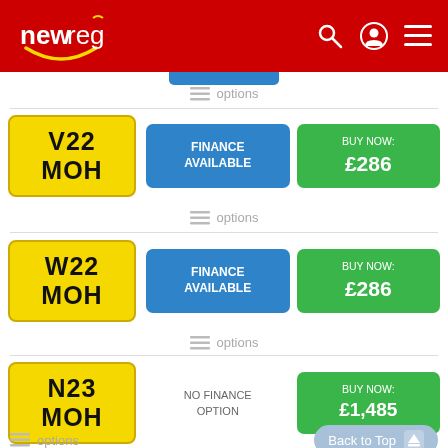newreg
[Figure (screenshot): Partial blue button cut off at top of listing area]
options
[Figure (screenshot): Yellow number plate: V22 MOH, Finance Available button (blue), Buy Now £286 button (green)]
options
[Figure (screenshot): Yellow number plate: W22 MOH, Finance Available button (blue), Buy Now £286 button (green)]
options
[Figure (screenshot): Yellow number plate: N23 MOH, No Finance Option text, Buy Now £1,485 button (green)]
options
Back to Top